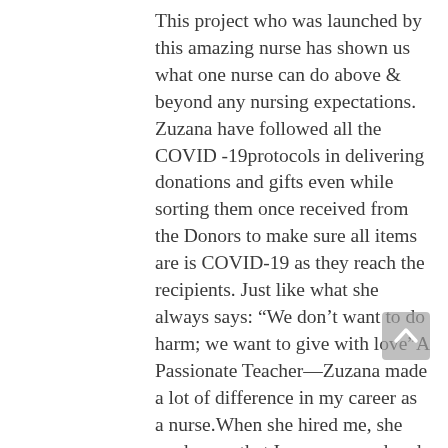This project who was launched by this amazing nurse has shown us what one nurse can do above & beyond any nursing expectations. Zuzana have followed all the COVID -19protocols in delivering donations and gifts even while sorting them once received from the Donors to make sure all items are is COVID-19 as they reach the recipients. Just like what she always says: “We don’t want to do harm; we want to give with love”A Passionate Teacher—Zuzana made a lot of difference in my career as a nurse.When she hired me, she made sure that I was prepared and confident to perform any tasks.She was and still is very patient in teaching me on how to be best in everything I do.

She is always available to answer any